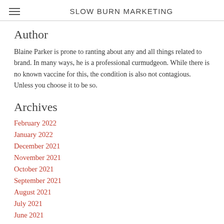SLOW BURN MARKETING
Author
Blaine Parker is prone to ranting about any and all things related to brand. In many ways, he is a professional curmudgeon. While there is no known vaccine for this, the condition is also not contagious. Unless you choose it to be so.
Archives
February 2022
January 2022
December 2021
November 2021
October 2021
September 2021
August 2021
July 2021
June 2021